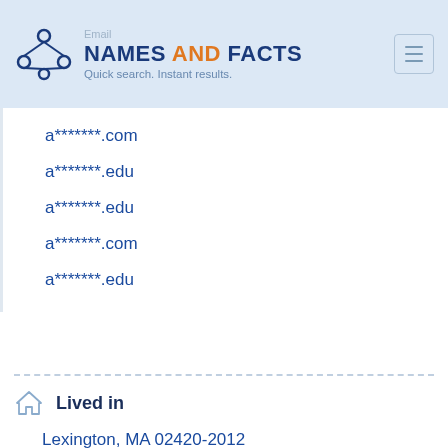NAMES AND FACTS — Quick search. Instant results.
a*******.com
a*******.edu
a*******.edu
a*******.com
a*******.edu
Lived in
Lexington, MA 02420-2012
Arlington, MA 02474-8521
Cambridge, MA 02141-2147
San Francisco, CA 94114-3514
Roxbury, MA 02118-1593